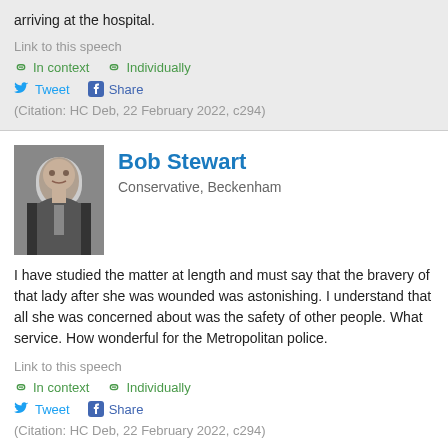arriving at the hospital.
Link to this speech
In context   Individually
Tweet   Share
(Citation: HC Deb, 22 February 2022, c294)
Bob Stewart
Conservative, Beckenham
I have studied the matter at length and must say that the bravery of that lady after she was wounded was astonishing. I understand that all she was concerned about was the safety of other people. What service. How wonderful for the Metropolitan police.
Link to this speech
In context   Individually
Tweet   Share
(Citation: HC Deb, 22 February 2022, c294)